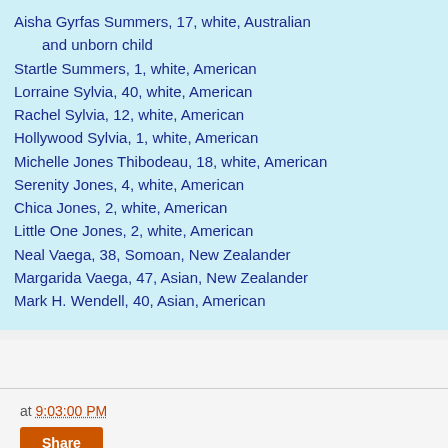Aisha Gyrfas Summers, 17, white, Australian and unborn child
Startle Summers, 1, white, American
Lorraine Sylvia, 40, white, American
Rachel Sylvia, 12, white, American
Hollywood Sylvia, 1, white, American
Michelle Jones Thibodeau, 18, white, American
Serenity Jones, 4, white, American
Chica Jones, 2, white, American
Little One Jones, 2, white, American
Neal Vaega, 38, Somoan, New Zealander
Margarida Vaega, 47, Asian, New Zealander
Mark H. Wendell, 40, Asian, American
at 9:03:00 PM